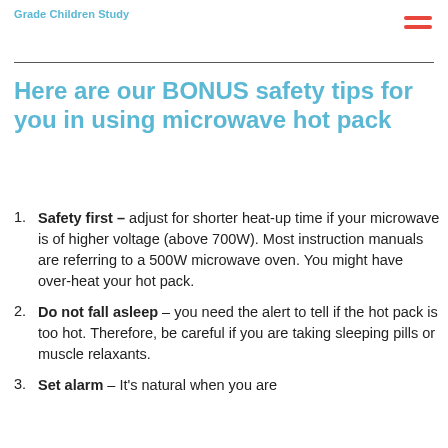Grade Children Study
Here are our BONUS safety tips for you in using microwave hot pack
Safety first – adjust for shorter heat-up time if your microwave is of higher voltage (above 700W). Most instruction manuals are referring to a 500W microwave oven. You might have over-heat your hot pack.
Do not fall asleep – you need the alert to tell if the hot pack is too hot. Therefore, be careful if you are taking sleeping pills or muscle relaxants.
Set alarm – It's natural when you are...